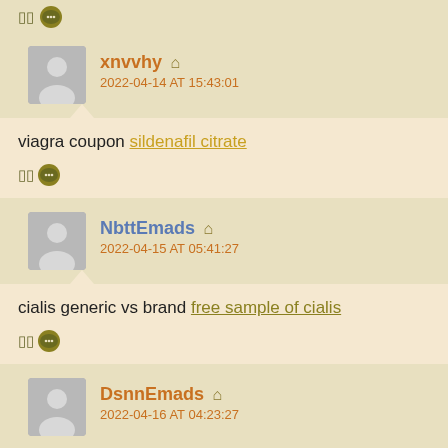[] ...
xnvvhy 🏠 2022-04-14 AT 15:43:01
viagra coupon sildenafil citrate
[] ...
NbttEmads 🏠 2022-04-15 AT 05:41:27
cialis generic vs brand free sample of cialis
[] ...
DsnnEmads 🏠 2022-04-16 AT 04:23:27